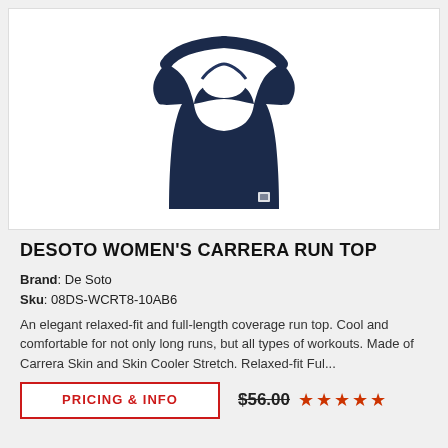[Figure (photo): Navy blue women's fitted short-sleeve running top (DeSoto Women's Carrera Run Top) displayed on an invisible mannequin against white background.]
DESOTO WOMEN'S CARRERA RUN TOP
Brand: De Soto
Sku: 08DS-WCRT8-10AB6
An elegant relaxed-fit and full-length coverage run top. Cool and comfortable for not only long runs, but all types of workouts. Made of Carrera Skin and Skin Cooler Stretch. Relaxed-fit Ful...
PRICING & INFO
$56.00
★★★★★